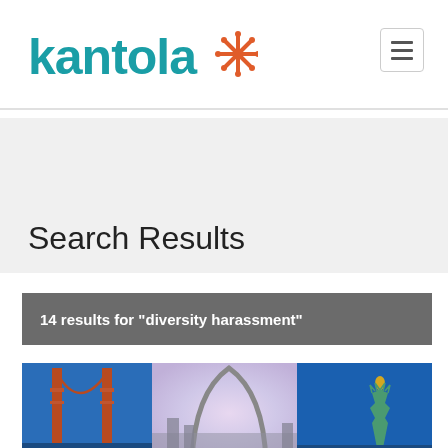[Figure (logo): Kantola logo with teal text and orange asterisk/snowflake icon]
Search Results
14 results for "diversity harassment"
[Figure (photo): Composite image of US landmarks: Golden Gate Bridge, St. Louis Gateway Arch, and Statue of Liberty against blue sky]